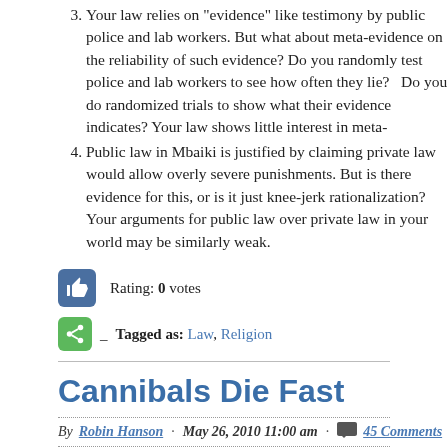3. Your law relies on 'evidence' like testimony by public police and lab workers. But what about meta-evidence on the reliability of such evidence? Do you randomly test police and lab workers to see how often they lie? Do you do randomized trials to show what their evidence indicates? Your law shows little interest in meta-evidence.
4. Public law in Mbaiki is justified by claiming private law would allow overly severe punishments. But is there evidence for this, or is it just knee-jerk rationalization? Your arguments for public law over private law in your world may be similarly weak.
Rating: 0 votes
Tagged as: Law, Religion
Cannibals Die Fast
By Robin Hanson · May 26, 2010 11:00 am · 45 Comments
I just watched the movie The Road, and then skimmed the book. The scenario is that a calamity covers the sky with ash, making thi...